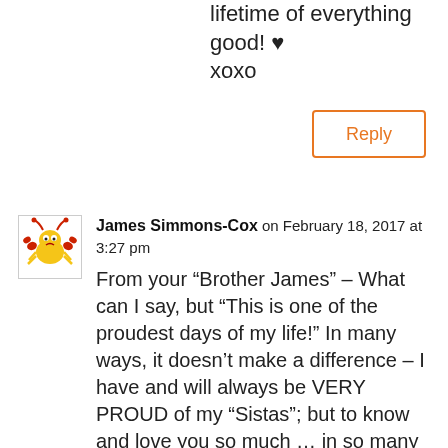lifetime of everything good! ♥ xoxo
Reply
James Simmons-Cox on February 18, 2017 at 3:27 pm
From your “Brother James” – What can I say, but “This is one of the proudest days of my life!” In many ways, it doesn’t make a difference – I have and will always be VERY PROUD of my “Sistas”; but to know and love you so much … in so many ways, I know that an occasion like this only proclaims the adoration, commitment and partnership that you have possessed already for a